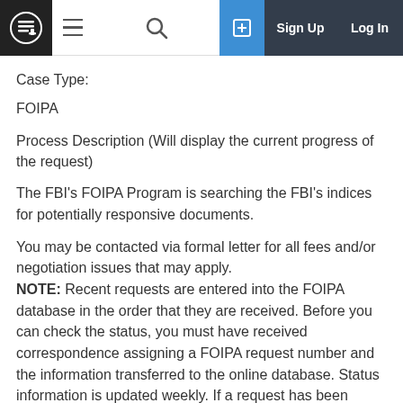Case Type:
FOIPA
Process Description (Will display the current progress of the request)
The FBI's FOIPA Program is searching the FBI's indices for potentially responsive documents.
You may be contacted via formal letter for all fees and/or negotiation issues that may apply.
NOTE: Recent requests are entered into the FOIPA database in the order that they are received. Before you can check the status, you must have received correspondence assigning a FOIPA request number and the information transferred to the online database. Status information is updated weekly. If a request has been closed within the last six months the online database will display the following: The FOIPA